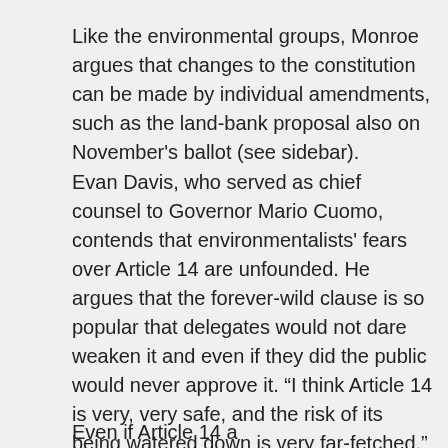Like the environmental groups, Monroe argues that changes to the constitution can be made by individual amendments, such as the land-bank proposal also on November's ballot (see sidebar).
Evan Davis, who served as chief counsel to Governor Mario Cuomo, contends that environmentalists' fears over Article 14 are unfounded. He argues that the forever-wild clause is so popular that delegates would not dare weaken it and even if they did the public would never approve it. “I think Article 14 is very, very safe, and the risk of its being watered down is very far-fetched,” said Davis, who once sat on the Adirondack Council board and is now serving as manager of the Committee for a Constitutional Convention.
Even if Article 14 a...